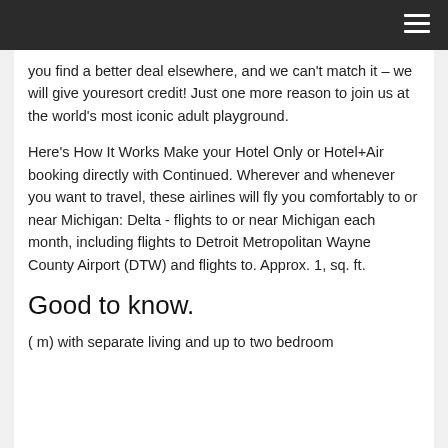you find a better deal elsewhere, and we can't match it – we will give youresort credit! Just one more reason to join us at the world's most iconic adult playground.
Here's How It Works Make your Hotel Only or Hotel+Air booking directly with Continued. Wherever and whenever you want to travel, these airlines will fly you comfortably to or near Michigan: Delta - flights to or near Michigan each month, including flights to Detroit Metropolitan Wayne County Airport (DTW) and flights to. Approx. 1, sq. ft.
Good to know.
( m) with separate living and up to two bedroom